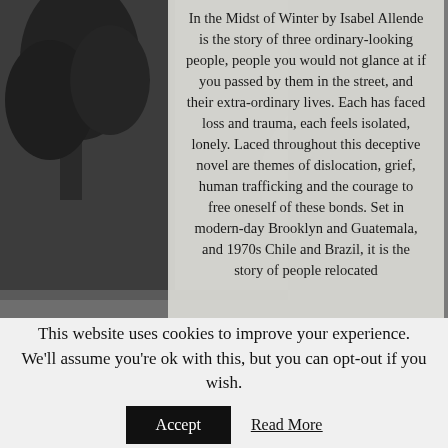[Figure (photo): Black and white outdoor landscape photo with trees on the left side and mountains/sky on the right, serving as background]
In the Midst of Winter by Isabel Allende is the story of three ordinary-looking people, people you would not glance at if you passed by them in the street, and their extra-ordinary lives. Each has faced loss and trauma, each feels isolated, lonely. Laced throughout this deceptive novel are themes of dislocation, grief, human trafficking and the courage to free oneself of these bonds. Set in modern-day Brooklyn and Guatemala, and 1970s Chile and Brazil, it is the story of people relocated
This website uses cookies to improve your experience. We'll assume you're ok with this, but you can opt-out if you wish.